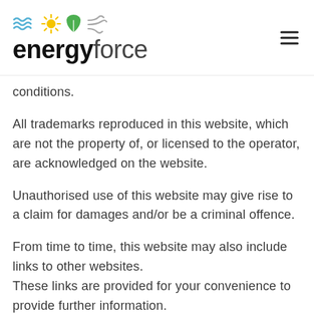energyforce
conditions.
All trademarks reproduced in this website, which are not the property of, or licensed to the operator, are acknowledged on the website.
Unauthorised use of this website may give rise to a claim for damages and/or be a criminal offence.
From time to time, this website may also include links to other websites. These links are provided for your convenience to provide further information.